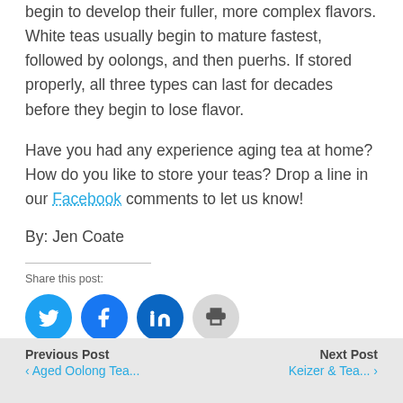begin to develop their fuller, more complex flavors. White teas usually begin to mature fastest, followed by oolongs, and then puerhs. If stored properly, all three types can last for decades before they begin to lose flavor.
Have you had any experience aging tea at home? How do you like to store your teas? Drop a line in our Facebook comments to let us know!
By: Jen Coate
Share this post:
[Figure (other): Social sharing icons: Twitter (blue), Facebook (dark blue), LinkedIn (dark blue), Print (gray)]
Previous Post | Next Post